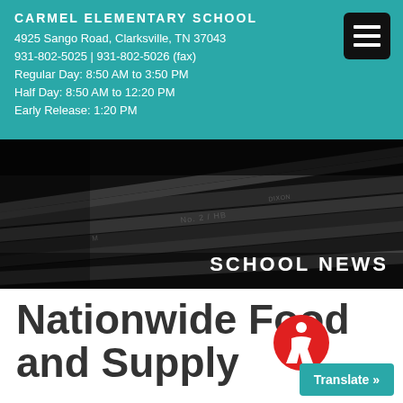CARMEL ELEMENTARY SCHOOL
4925 Sango Road, Clarksville, TN 37043
931-802-5025 | 931-802-5026 (fax)
Regular Day: 8:50 AM to 3:50 PM
Half Day: 8:50 AM to 12:20 PM
Early Release: 1:20 PM
[Figure (photo): Dark-toned close-up photo of pencils and crayons with 'SCHOOL NEWS' text overlay in white capital letters]
Nationwide Food and Supply